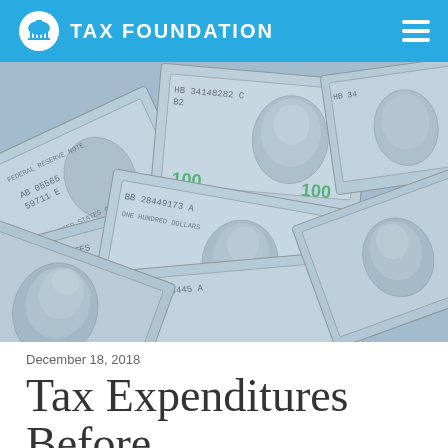TAX FOUNDATION
[Figure (photo): Pile of US $100 dollar bills scattered and overlapping, shown in a slightly desaturated blue-tinted color]
December 18, 2018
Tax Expenditures Before